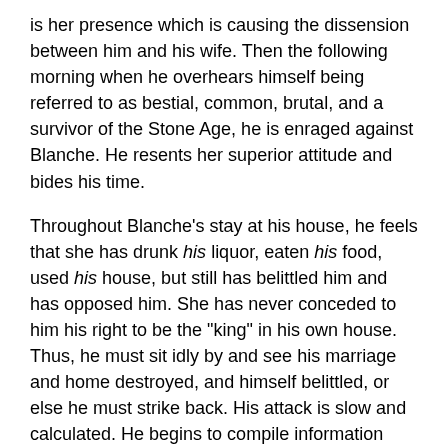is her presence which is causing the dissension between him and his wife. Then the following morning when he overhears himself being referred to as bestial, common, brutal, and a survivor of the Stone Age, he is enraged against Blanche. He resents her superior attitude and bides his time.
Throughout Blanche's stay at his house, he feels that she has drunk his liquor, eaten his food, used his house, but still has belittled him and has opposed him. She has never conceded to him his right to be the "king" in his own house. Thus, he must sit idly by and see his marriage and home destroyed, and himself belittled, or else he must strike back. His attack is slow and calculated. He begins to compile information about Blanche's past life. He must present her past life to his wife so that she can determine who is the superior person. When he has his information accumulated, he is convinced that however common he is, his life and his past are far superior to Blanche's. Now that he feels his superiority again, he begins